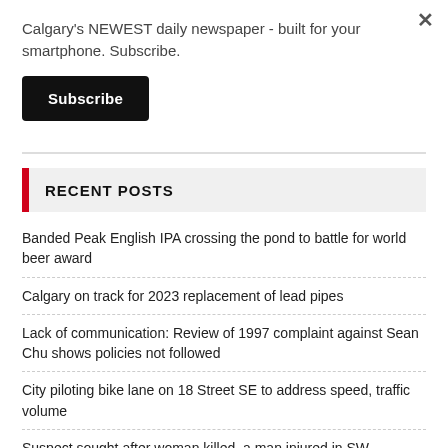Calgary's NEWEST daily newspaper - built for your smartphone. Subscribe.
Subscribe
RECENT POSTS
Banded Peak English IPA crossing the pond to battle for world beer award
Calgary on track for 2023 replacement of lead pipes
Lack of communication: Review of 1997 complaint against Sean Chu shows policies not followed
City piloting bike lane on 18 Street SE to address speed, traffic volume
Suspect sought after woman killed, a man injured in SW...